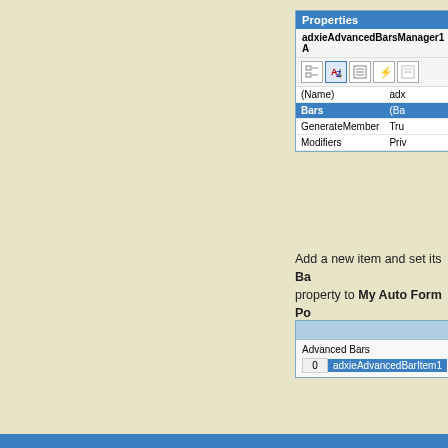[Figure (screenshot): Visual Studio Properties panel showing adxieAdvancedBarsManager1 component with properties: (Name), Bars (selected/highlighted in blue), GenerateMember, Modifiers]
Add a new item and set its Bars property to My Auto Form Pop
[Figure (screenshot): Advanced Bars collection editor dialog showing item 0: adxieAdvancedBarItem1 selected in blue]